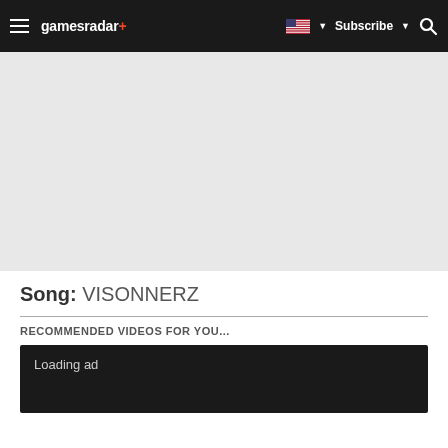gamesradar+ | Subscribe | Search
[Figure (other): Advertisement placeholder area (light gray background)]
Song: VISONNERZ
RECOMMENDED VIDEOS FOR YOU...
Loading ad